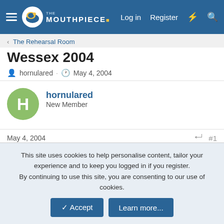The Mouthpiece - Log in | Register
The Rehearsal Room
Wessex 2004
hornulared · May 4, 2004
hornulared
New Member
May 4, 2004  #1
Just wondering who’s going to Wessex this year, should be a good one (as always - plenty of beer, playing and other things!!?)
This site uses cookies to help personalise content, tailor your experience and to keep you logged in if you register.
By continuing to use this site, you are consenting to our use of cookies.
Accept  Learn more...